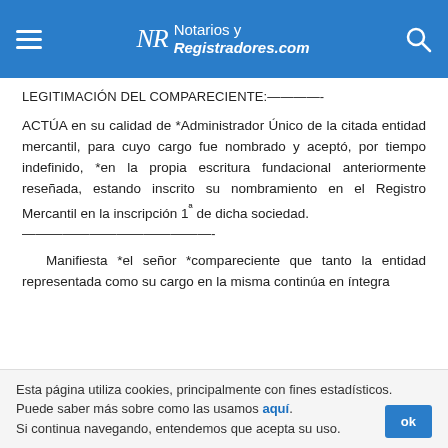Notarios y Registradores.com
LEGITIMACIÓN DEL COMPARECIENTE:————-
ACTÚA en su calidad de *Administrador Único de la citada entidad mercantil, para cuyo cargo fue nombrado y aceptó, por tiempo indefinido, *en la propia escritura fundacional anteriormente reseñada, estando inscrito su nombramiento en el Registro Mercantil en la inscripción 1ª de dicha sociedad. ——————————————-
Manifiesta *el señor *compareciente que tanto la entidad representada como su cargo en la misma continúa en íntegra
Esta página utiliza cookies, principalmente con fines estadísticos. Puede saber más sobre como las usamos aquí. Si continua navegando, entendemos que acepta su uso.